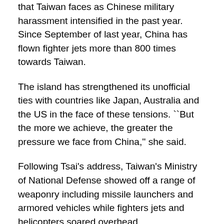that Taiwan faces as Chinese military harassment intensified in the past year. Since September of last year, China has flown fighter jets more than 800 times towards Taiwan.
The island has strengthened its unofficial ties with countries like Japan, Australia and the US in the face of these tensions. ``But the more we achieve, the greater the pressure we face from China," she said.
Following Tsai's address, Taiwan's Ministry of National Defense showed off a range of weaponry including missile launchers and armored vehicles while fighters jets and helicopters soared overhead.
Tsai said Taiwan wanted to contribute to the peaceful development in the region even as the situation becomes more ``becoming more tense and complex" in the Indo-Pacific.
On Saturday, China's leader Xi Jinping said that